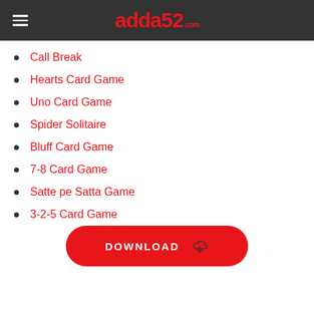adda52.com
Call Break
Hearts Card Game
Uno Card Game
Spider Solitaire
Bluff Card Game
7-8 Card Game
Satte pe Satta Game
3-2-5 Card Game
[Figure (other): DOWNLOAD button with cloud download icon]